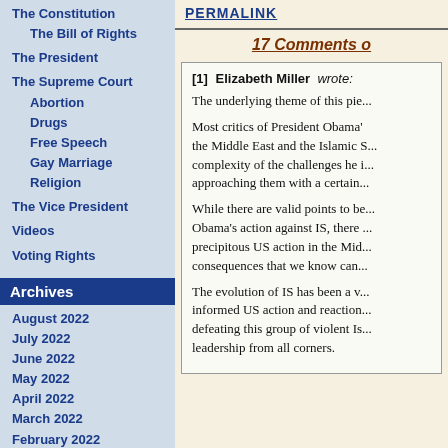The Constitution
The Bill of Rights
The President
The Supreme Court
Abortion
Drugs
Free Speech
Gay Marriage
Religion
The Vice President
Videos
Voting Rights
Archives
August 2022
July 2022
June 2022
May 2022
April 2022
March 2022
February 2022
January 2022
December 2021
November 2021
October 2021
September 2021
Permalink
17 Comments o
[1] Elizabeth Miller wrote:
The underlying theme of this pie...
Most critics of President Obama's... the Middle East and the Islamic S... complexity of the challenges he i... approaching them with a certain...
While there are valid points to be... Obama's action against IS, there ... precipitous US action in the Mid... consequences that we know can...
The evolution of IS has been a v... informed US action and reaction... defeating this group of violent Is... leadership from all corners.